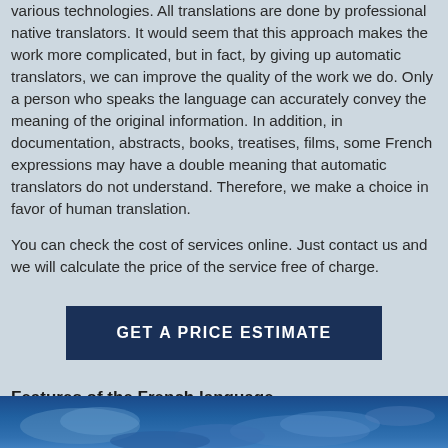various technologies. All translations are done by professional native translators. It would seem that this approach makes the work more complicated, but in fact, by giving up automatic translators, we can improve the quality of the work we do. Only a person who speaks the language can accurately convey the meaning of the original information. In addition, in documentation, abstracts, books, treatises, films, some French expressions may have a double meaning that automatic translators do not understand. Therefore, we make a choice in favor of human translation.
You can check the cost of services online. Just contact us and we will calculate the price of the service free of charge.
[Figure (other): Dark navy blue button with white uppercase text reading GET A PRICE ESTIMATE]
Features of the French language
[Figure (photo): Partial view of a photo at the bottom of the page, appears to show a blue sky scene]